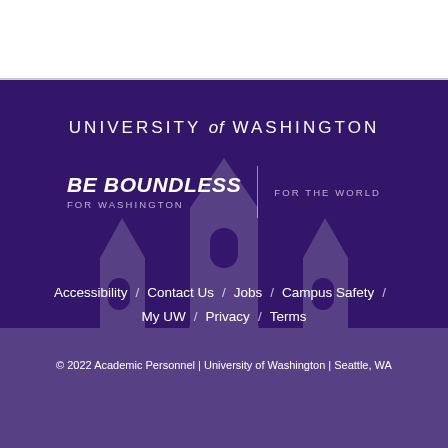[Figure (logo): University of Washington footer with purple background, UW wordmark, Be Boundless campaign logo, navigation links, and copyright]
UNIVERSITY of WASHINGTON
BE BOUNDLESS / FOR WASHINGTON / FOR THE WORLD
Accessibility / Contact Us / Jobs / Campus Safety /
My UW / Privacy / Terms
© 2022 Academic Personnel | University of Washington | Seattle, WA